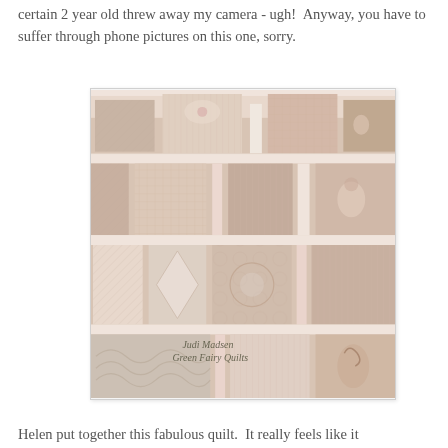certain 2 year old threw away my camera - ugh!  Anyway, you have to suffer through phone pictures on this one, sorry.
[Figure (photo): A patchwork quilt photographed from above at an angle, featuring pink and tan/beige fabric blocks with floral and fairy-tale motifs, intricate quilting patterns including swirls, parallel lines, and cross-hatching. Watermark text reads 'Judi Madsen Green Fairy Quilts'.]
Helen put together this fabulous quilt.  It really feels like it